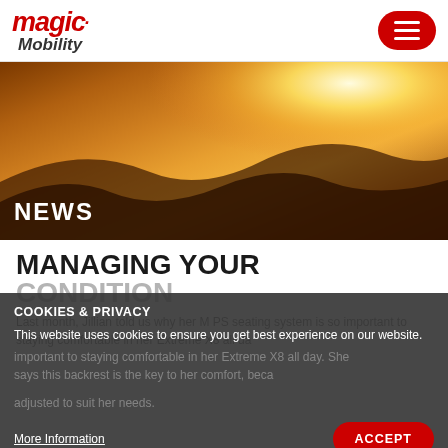[Figure (logo): Magic Mobility logo — 'magic.' in bold red italic with 'Mobility' in italic script below]
[Figure (other): Red rounded-rectangle hamburger/menu button with three white horizontal lines]
[Figure (photo): Hero banner image showing warm orange and golden tones with dark rocky terrain, sunburst light effect from upper right]
NEWS
MANAGING YOUR CONDITION
Last month, Jillian told us why her MPS seating system is so important to staying comfortable in her Extreme X8 all day. She says this backrest is the key to her comfort, because it can be adjusted to suit her needs.
COOKIES & PRIVACY
This website uses cookies to ensure you get best experience on our website.
More Information
ACCEPT